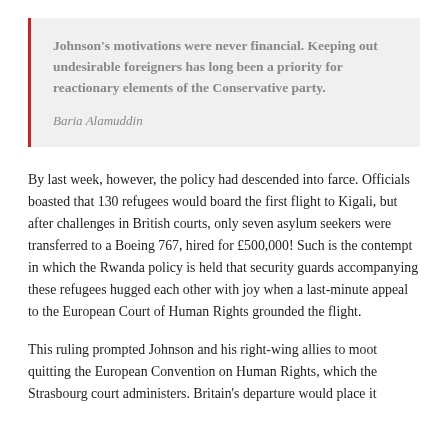Johnson's motivations were never financial. Keeping out undesirable foreigners has long been a priority for reactionary elements of the Conservative party.

Baria Alamuddin
By last week, however, the policy had descended into farce. Officials boasted that 130 refugees would board the first flight to Kigali, but after challenges in British courts, only seven asylum seekers were transferred to a Boeing 767, hired for £500,000! Such is the contempt in which the Rwanda policy is held that security guards accompanying these refugees hugged each other with joy when a last-minute appeal to the European Court of Human Rights grounded the flight.
This ruling prompted Johnson and his right-wing allies to moot quitting the European Convention on Human Rights, which the Strasbourg court administers. Britain's departure would place it